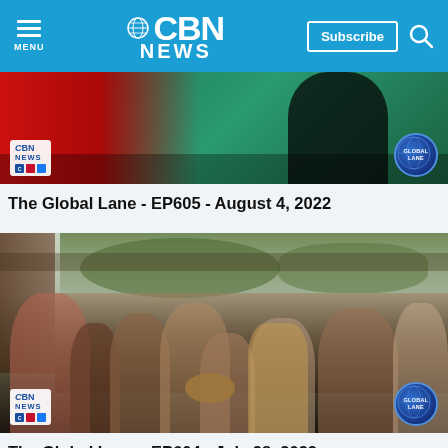CBN NEWS — navigation header with Menu, Subscribe, Search
[Figure (screenshot): CBN News video thumbnail for The Global Lane EP605, showing a person in red against a green/teal background with CBN News logo badge and Global Lane globe badge]
The Global Lane - EP605 - August 4, 2022
[Figure (photo): CBN News video thumbnail for The Global Lane EP604, showing a large crowd of people in a street scene with CBN News logo badge and Global Lane globe badge]
The Global Lane - EP604 - July 28, 2022